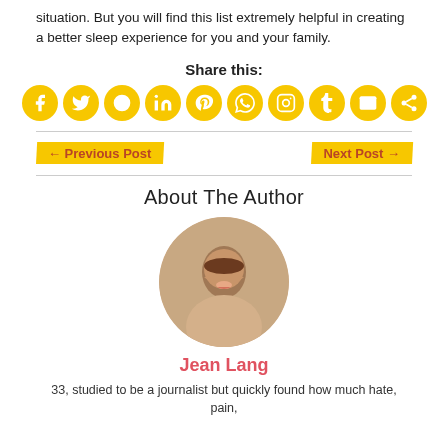situation. But you will find this list extremely helpful in creating a better sleep experience for you and your family.
Share this:
[Figure (infographic): Row of 10 yellow circular social media share icons: Facebook, Twitter, Reddit, LinkedIn, Pinterest, WhatsApp, Instagram, Tumblr, Email, Share]
← Previous Post
Next Post →
About The Author
[Figure (photo): Circular portrait photo of Jean Lang, a woman with long dark hair, smiling, with a blurred background]
Jean Lang
33, studied to be a journalist but quickly found how much hate, pain,